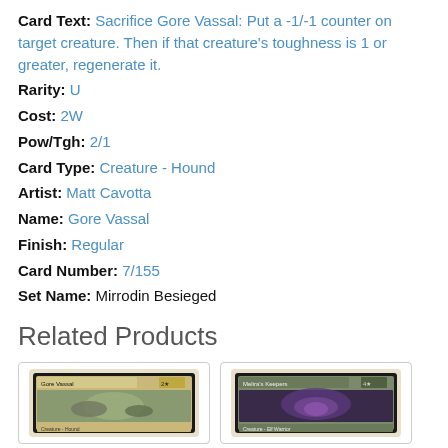Card Text: Sacrifice Gore Vassal: Put a -1/-1 counter on target creature. Then if that creature's toughness is 1 or greater, regenerate it.
Rarity: U
Cost: 2W
Pow/Tgh: 2/1
Card Type: Creature - Hound
Artist: Matt Cavotta
Name: Gore Vassal
Finish: Regular
Card Number: 7/155
Set Name: Mirrodin Besieged
Related Products
[Figure (photo): Gore Vassal Magic card image]
[Figure (photo): Melira's Keepers Magic card image]